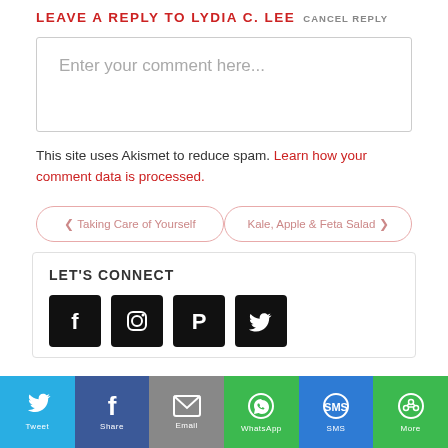LEAVE A REPLY TO LYDIA C. LEE CANCEL REPLY
Enter your comment here...
This site uses Akismet to reduce spam. Learn how your comment data is processed.
< Taking Care of Yourself
Kale, Apple & Feta Salad >
LET'S CONNECT
[Figure (infographic): Row of four black social media icon buttons: Facebook, Instagram, Pinterest, Twitter]
[Figure (infographic): Bottom share bar with six colored sections: Twitter (light blue), Facebook (dark blue), Email (gray), WhatsApp (green), SMS (blue), More (green)]